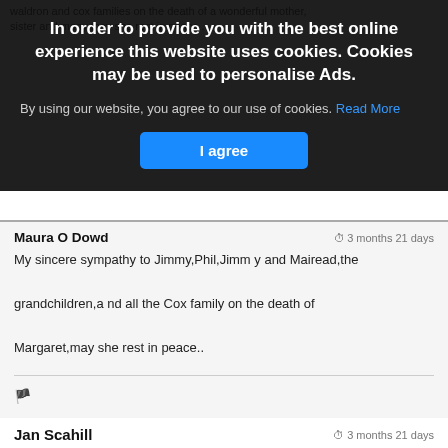waldron and cox families on the death of a wonderful mother, sister and many they she rest in peace..
In order to provide you with the best online experience this website uses cookies. Cookies may be used to personalise Ads.
By using our website, you agree to our use of cookies. Read More
I agree
Maura O Dowd
3 months 21 days
My sincere sympathy to Jimmy,Phil,Jimm y and Mairead,the grandchildren,a nd all the Cox family on the death of Margaret,may she rest in peace..
Jan Scahill
3 months 21 days
Deepest Condolences to the Cox/Waldron Family from the Scahill Family